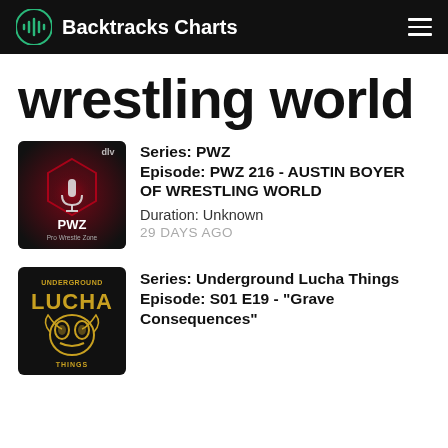Backtracks Charts
wrestling world
Series: PWZ
Episode: PWZ 216 - AUSTIN BOYER OF WRESTLING WORLD
Duration: Unknown
29 DAYS AGO
Series: Underground Lucha Things
Episode: S01 E19 - "Grave Consequences"